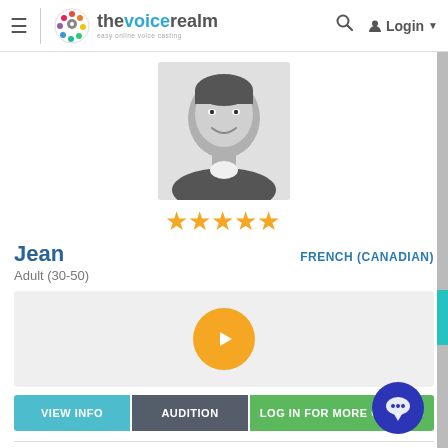thevoicerealm — easy online voice casting | Login
[Figure (photo): Black and white headshot photo of a smiling young man]
[Figure (other): Five gold star rating icons]
Jean
Adult (30-50)
FRENCH (CANADIAN)
[Figure (other): Audio player with golden play button on gray background]
VIEW INFO
AUDITION
LOG IN FOR MORE OPTIONS